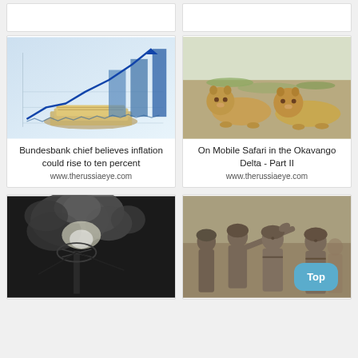[Figure (other): Two placeholder/empty card boxes at top]
[Figure (illustration): Financial chart illustration with upward arrow, bar charts, and dollar bills]
Bundesbank chief believes inflation could rise to ten percent
www.therussiaeye.com
[Figure (photo): Two lion cubs lying on sandy ground in the Okavango Delta]
On Mobile Safari in the Okavango Delta - Part II
www.therussiaeye.com
[Figure (photo): Black and white photo of industrial scene with smoke/explosion and equipment]
[Figure (photo): Sepia-toned photo of soldiers in military gear, one pointing]